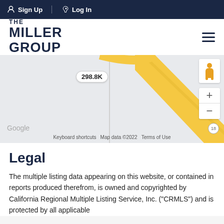Sign Up  Log In
[Figure (logo): The Miller Group logo with hamburger menu icon]
[Figure (map): Google Maps showing a road with label 298.8K, with zoom controls and street view icon. Map data ©2022. Keyboard shortcuts. Terms of Use.]
Legal
The multiple listing data appearing on this website, or contained in reports produced therefrom, is owned and copyrighted by California Regional Multiple Listing Service, Inc. ("CRMLS") and is protected by all applicable